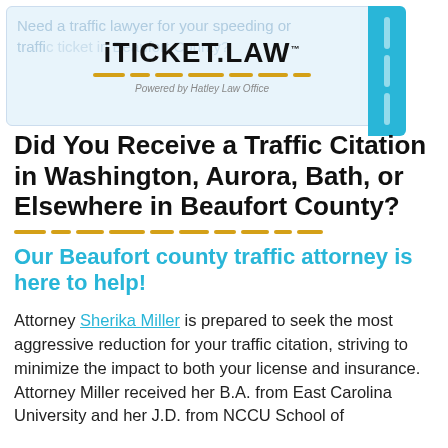[Figure (logo): iTicket.Law logo banner with faded background text 'Need a traffic lawyer for your speeding or traffic ticket in Beaufort County?', golden horizontal lines, and 'Powered by Hatley Law Office' subtitle. Teal sidebar tab on the right.]
Did You Receive a Traffic Citation in Washington, Aurora, Bath, or Elsewhere in Beaufort County?
Our Beaufort county traffic attorney is here to help!
Attorney Sherika Miller is prepared to seek the most aggressive reduction for your traffic citation, striving to minimize the impact to both your license and insurance. Attorney Miller received her B.A. from East Carolina University and her J.D. from NCCU School of